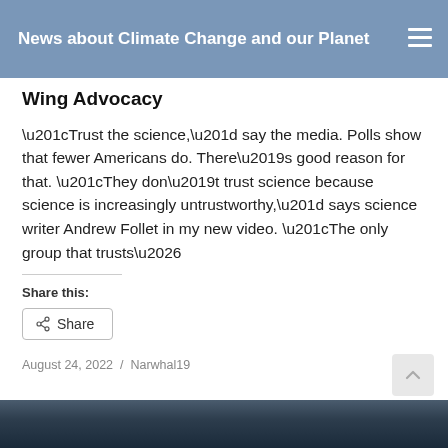News about Climate Change and our Planet
Wing Advocacy
“Trust the science,” say the media. Polls show that fewer Americans do. There’s good reason for that. “They don’t trust science because science is increasingly untrustworthy,” says science writer Andrew Follet in my new video. “The only group that trusts…
Share this:
Share
August 24, 2022 / Narwhal19
[Figure (photo): Mountain glacier landscape at the bottom of the page]